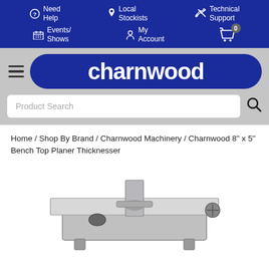Need Help | Local Stockists | Technical Support | Events/Shows | My Account | Cart (0)
[Figure (logo): Charnwood logo — white rounded-font text on dark blue pill-shaped background]
Home / Shop By Brand / Charnwood Machinery / Charnwood 8" x 5" Bench Top Planer Thicknesser
[Figure (photo): Charnwood 8" x 5" Bench Top Planer Thicknesser product photo — silver/grey machine on white background]